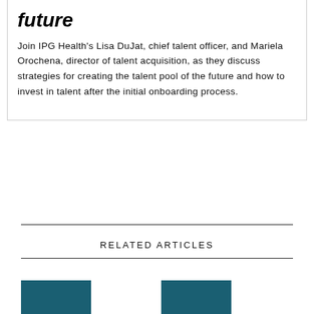future
Join IPG Health's Lisa DuJat, chief talent officer, and Mariela Orochena, director of talent acquisition, as they discuss strategies for creating the talent pool of the future and how to invest in talent after the initial onboarding process.
RELATED ARTICLES
[Figure (photo): Teal/dark blue colored thumbnail image on the left]
[Figure (photo): Teal/dark blue colored thumbnail image on the right]